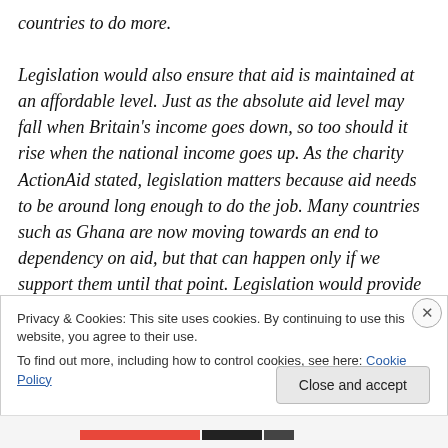countries to do more.

Legislation would also ensure that aid is maintained at an affordable level. Just as the absolute aid level may fall when Britain's income goes down, so too should it rise when the national income goes up. As the charity ActionAid stated, legislation matters because aid needs to be around long enough to do the job. Many countries such as Ghana are now moving towards an end to dependency on aid, but that can happen only if we support them until that point. Legislation would provide the certainty that is
Privacy & Cookies: This site uses cookies. By continuing to use this website, you agree to their use.
To find out more, including how to control cookies, see here: Cookie Policy